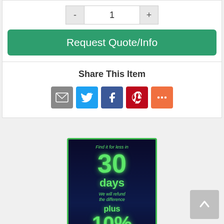[Figure (screenshot): Quantity selector with minus button, input showing 1, and plus button]
Request Quote/Info
Share This Item
[Figure (infographic): Social share icons: Email (grey), Twitter (blue), Facebook (blue), Pinterest (red), More (orange)]
[Figure (infographic): Promotional banner: Find it for less in 30 days. We will refund the difference plus 10% in cash!]
[Figure (other): Back to top button with upward arrow]